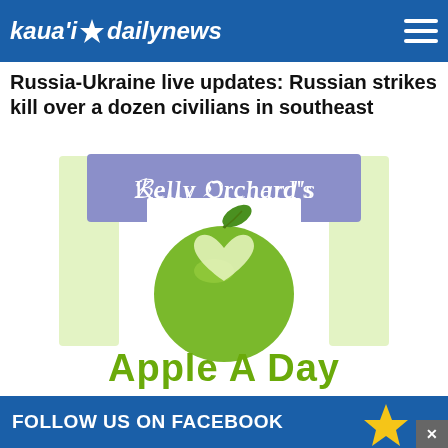kaua'i daily news
Russia-Ukraine live updates: Russian strikes kill over a dozen civilians in southeast
[Figure (logo): Kelly Orchard's Apple A Day advertisement showing a green apple with a white heart shape carved into it, with 'Kelly Orchard's' text in white on a purple/periwinkle banner and 'Apple A Day' in large green text below]
FOLLOW US ON FACEBOOK